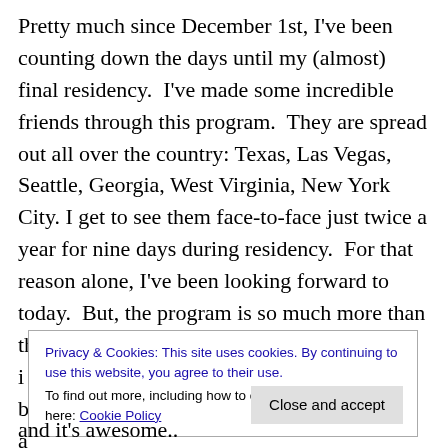Pretty much since December 1st, I've been counting down the days until my (almost) final residency.  I've made some incredible friends through this program.  They are spread out all over the country: Texas, Las Vegas, Seattle, Georgia, West Virginia, New York City. I get to see them face-to-face just twice a year for nine days during residency.  For that reason alone, I've been looking forward to today.  But, the program is so much more than that.  The instructors, the seminars, the i... b... a... e...
Privacy & Cookies: This site uses cookies. By continuing to use this website, you agree to their use.
To find out more, including how to control cookies, see here: Cookie Policy
and it's awesome..